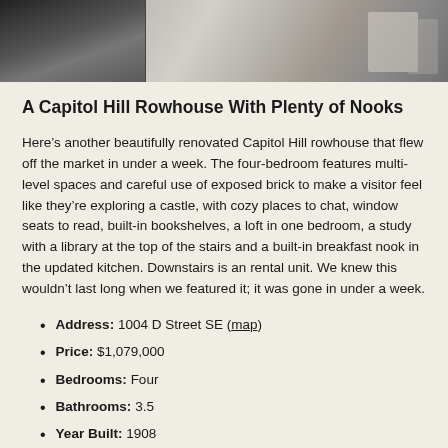[Figure (photo): Interior photo of a renovated Capitol Hill rowhouse showing living space with modern furniture and kitchen elements]
A Capitol Hill Rowhouse With Plenty of Nooks
Here’s another beautifully renovated Capitol Hill rowhouse that flew off the market in under a week. The four-bedroom features multi-level spaces and careful use of exposed brick to make a visitor feel like they’re exploring a castle, with cozy places to chat, window seats to read, built-in bookshelves, a loft in one bedroom, a study with a library at the top of the stairs and a built-in breakfast nook in the updated kitchen. Downstairs is an rental unit. We knew this wouldn’t last long when we featured it; it was gone in under a week.
Address: 1004 D Street SE (map)
Price: $1,079,000
Bedrooms: Four
Bathrooms: 3.5
Year Built: 1908
Days on Market: Six